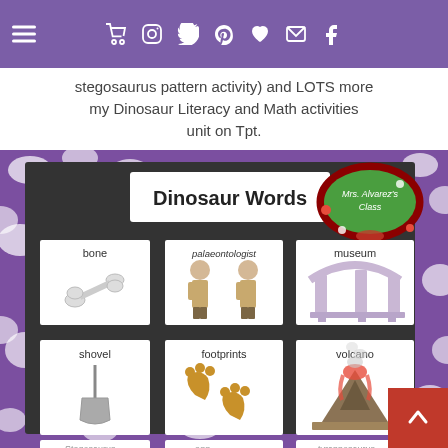my Dinosaur Literacy and Math activities unit on Tpt.
stegosaurus pattern activity) and LOTS more my Dinosaur Literacy and Math activities unit on Tpt.
[Figure (photo): Classroom bulletin board with purple polka-dot border displaying 'Dinosaur Words' vocabulary cards. Cards show: bone (with bone illustration), palaeontologist (with two figures in field clothes), museum (with arch/pillars illustration), shovel (with shovel illustration), footprints (with dinosaur footprint illustrations), volcano (with volcano illustration). A green oval 'Mrs. Alvarez's Class' label is in the upper right corner. Bottom row partially visible shows stegosaurus, egg(?), and tyrannosaurus.]